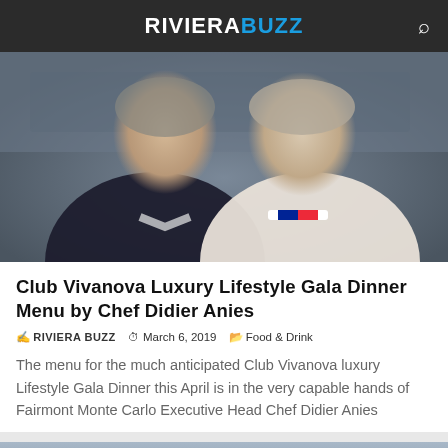RIVIERA BUZZ
[Figure (photo): Two men posing for a photo — left man in dark blazer and white shirt, right man in white chef's uniform with French tricolor collar stripe]
Club Vivanova Luxury Lifestyle Gala Dinner Menu by Chef Didier Anies
RIVIERA BUZZ  March 6, 2019  Food & Drink
The menu for the much anticipated Club Vivanova luxury Lifestyle Gala Dinner this April is in the very capable hands of Fairmont Monte Carlo Executive Head Chef Didier Anies